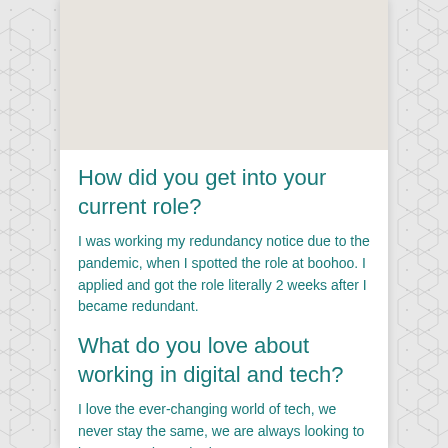[Figure (photo): Light beige/off-white blank image area at the top of the card]
How did you get into your current role?
I was working my redundancy notice due to the pandemic, when I spotted the role at boohoo. I applied and got the role literally 2 weeks after I became redundant.
What do you love about working in digital and tech?
I love the ever-changing world of tech, we never stay the same, we are always looking to improve and use the latest